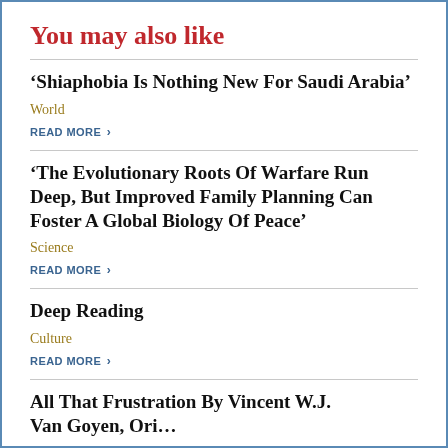You may also like
‘Shiaphobia Is Nothing New For Saudi Arabia’
World
READ MORE ›
‘The Evolutionary Roots Of Warfare Run Deep, But Improved Family Planning Can Foster A Global Biology Of Peace’
Science
READ MORE ›
Deep Reading
Culture
READ MORE ›
All That Frustration By Vincent W.J. Van Goyen, Ori…